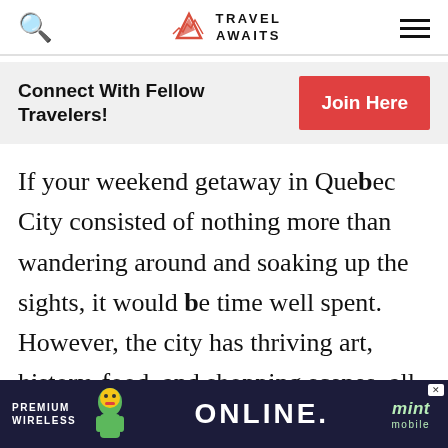Travel Awaits
Connect With Fellow Travelers!
If your weekend getaway in Quebec City consisted of nothing more than wandering around and soaking up the sights, it would be time well spent. However, the city has thriving art, history, food, and shopping scenes, all wait
[Figure (infographic): Mint Mobile advertisement: Premium Wireless Online. mint mobile. Dark background with cartoon character.]